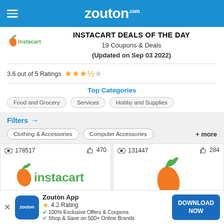zouton.com
INSTACART DEALS OF THE DAY
19 Coupons & Deals
(Updated on Sep 03 2022)
3.6 out of 5 Ratings ★★★★☆
Top Categories
Food and Grocery
Services
Hobby and Supplies
Filters →
Clothing & Accessories
Computer Accessories
+ more
[Figure (logo): Instacart logo with carrot icon, views: 178517, likes: 470]
[Figure (logo): Instacart logo with carrot icon, views: 131447, likes: 284]
Zouton App
4.2 Rating
100% Exclusive Offers & Coupons
Shop & Save on 500+ Online Brands
DOWNLOAD NOW